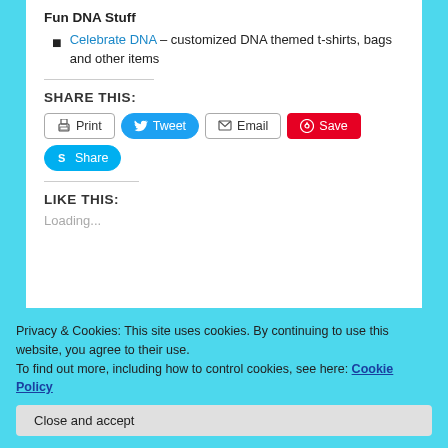Fun DNA Stuff
Celebrate DNA – customized DNA themed t-shirts, bags and other items
SHARE THIS:
Print | Tweet | Email | Save | Share
LIKE THIS:
Loading...
Privacy & Cookies: This site uses cookies. By continuing to use this website, you agree to their use.
To find out more, including how to control cookies, see here: Cookie Policy
Close and accept
Genetic Networks, Golden State Killer, Health, History,